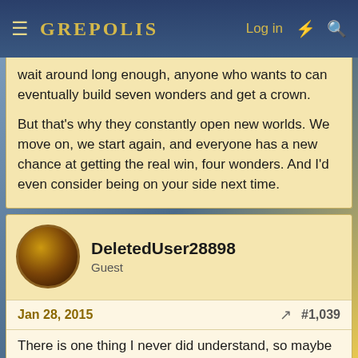GREPOLIS — Log in
wait around long enough, anyone who wants to can eventually build seven wonders and get a crown.

But that's why they constantly open new worlds. We move on, we start again, and everyone has a new chance at getting the real win, four wonders. And I'd even consider being on your side next time.
DeletedUser28898
Guest
Jan 28, 2015  #1,039
There is one thing I never did understand, so maybe someone can help me out. Why are there so many selfish players in this world? Every player name in this world has a human being behind it. They all play for different reasons, but for most, you like to compete, and you like to win. I see players who have been here almost from the beginning,